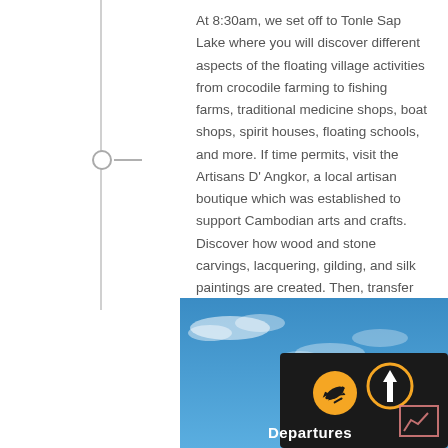At 8:30am, we set off to Tonle Sap Lake where you will discover different aspects of the floating village activities from crocodile farming to fishing farms, traditional medicine shops, boat shops, spirit houses, floating schools, and more. If time permits, visit the Artisans D' Angkor, a local artisan boutique which was established to support Cambodian arts and crafts. Discover how wood and stone carvings, lacquering, gilding, and silk paintings are created. Then, transfer to the airport for your flight departure. We hope to welcome you back soon!
[Figure (photo): Airport departures sign on a black board with a yellow airplane icon and an arrow pointing up, against a blue sky background. The word 'Departures' is written in white text.]